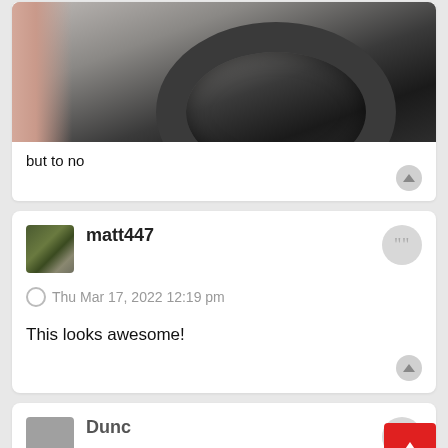[Figure (photo): Partial image of a person holding a dark grey cycling/motorcycle helmet, showing hand/arm on white background]
but to no
matt447
Thu Mar 17, 2022 12:19 pm
This looks awesome!
Dunc